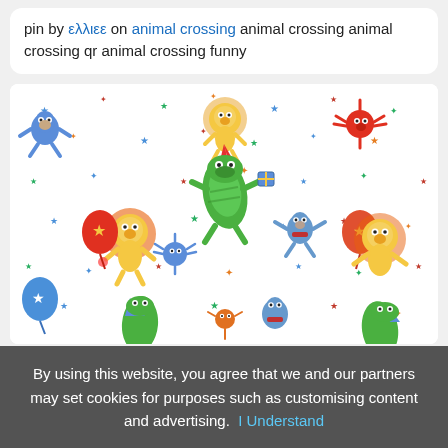pin by ελλιεε on animal crossing animal crossing animal crossing qr animal crossing funny
[Figure (illustration): Colorful cartoon party animals pattern on white background with stars — includes green crocodile with party hat, yellow lion with sunflower mane, blue monkey, red/orange spider creatures, blue elephants, and multicolor balloons and stars scattered throughout.]
By using this website, you agree that we and our partners may set cookies for purposes such as customising content and advertising.  I Understand